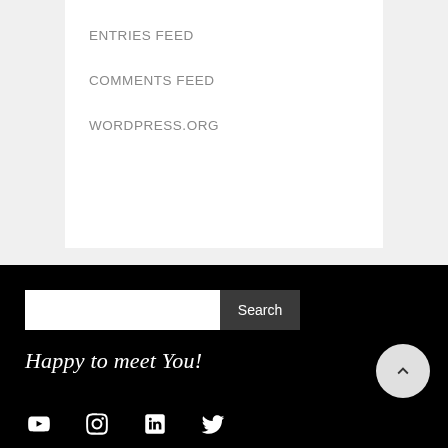ENTRIES FEED
COMMENTS FEED
WORDPRESS.ORG
Search
Happy to meet You!